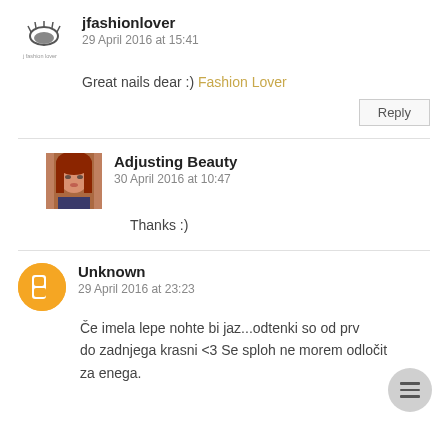[Figure (logo): jfashionlover logo - eyelash icon with text]
jfashionlover
29 April 2016 at 15:41
Great nails dear :) Fashion Lover
[Figure (photo): Woman with red hair profile photo]
Adjusting Beauty
30 April 2016 at 10:47
Thanks :)
[Figure (logo): Blogger orange circle icon with B]
Unknown
29 April 2016 at 23:23
Če imela lepe nohte bi jaz...odtenki so od prvega do zadnjega krasni <3 Se sploh ne morem odločit za enega.